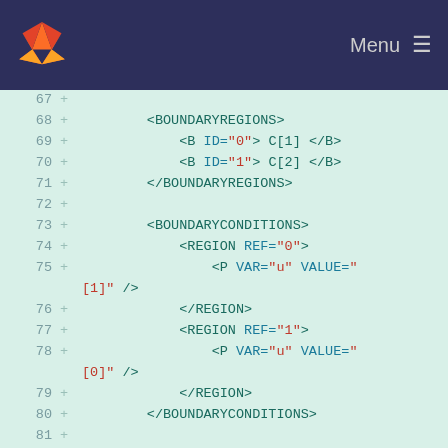GitLab — Menu
[Figure (screenshot): Code diff view showing XML configuration with line numbers 67-83, green plus markers indicating added lines, on a light green background. XML tags shown in teal/dark green, attribute names in blue-green, attribute values in red.]